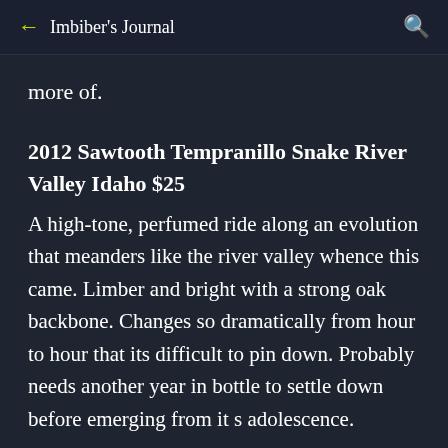← Imbiber's Journal 🔍
more of.
2012 Sawtooth Tempranillo Snake River Valley Idaho $25
A high-tone, perfumed ride along an evolution that meanders like the river valley whence this came. Limber and bright with a strong oak backbone. Changes so dramatically from hour to hour that its difficult to pin down. Probably needs another year in bottle to settle down before emerging from it s adolescence.